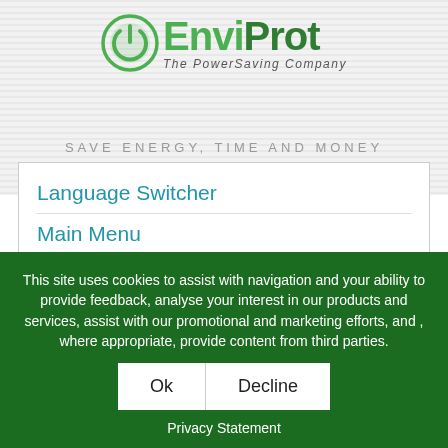[Figure (logo): EnviProt logo — green leaf/power icon circle, bold green text 'EnviProt', subtitle 'The PowerSaving Company']
SAVE ENERGY, TIME AND MONEY
Language Switcher
Main Menu
This site uses cookies to assist with navigation and your ability to provide feedback, analyse your interest in our products and services, assist with our promotional and marketing efforts, and , where appropriate, provide content from third parties.
Ok   Decline
Privacy Statement